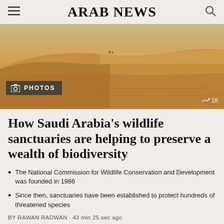ARAB NEWS
[Figure (photo): Aerial or wide-angle view of sandy desert dunes with a PHOTOS badge overlay and share count showing 18]
How Saudi Arabia’s wildlife sanctuaries are helping to preserve a wealth of biodiversity
The National Commission for Wildlife Conservation and Development was founded in 1986
Since then, sanctuaries have been established to protect hundreds of threatened species
BY RAWAN RADWAN · 43 min 25 sec ago